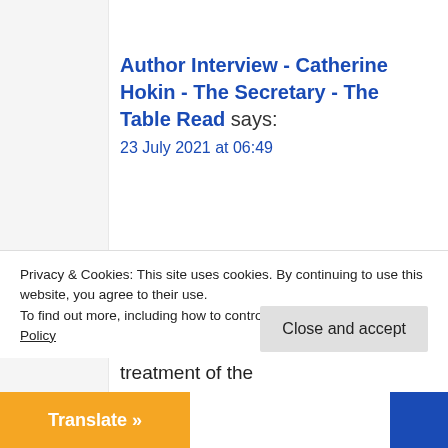Author Interview - Catherine Hokin - The Secretary - The Table Read says:
23 July 2021 at 06:49
[…] am a detailed planner. I write back stories for the key characters, most of which is just for me, and a treatment of the
Privacy & Cookies: This site uses cookies. By continuing to use this website, you agree to their use.
To find out more, including how to control cookies, see here: Cookie Policy
Close and accept
Translate »